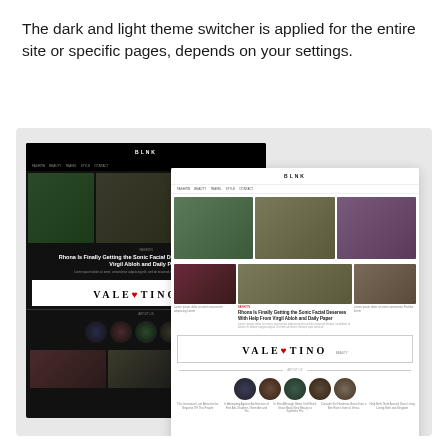The dark and light theme switcher is applied for the entire site or specific pages, depends on your settings.
[Figure (screenshot): Side-by-side comparison of a fashion magazine website in dark theme (left) and light theme (right), both showing the same content layout with navigation, hero images, article headlines, a Valentino advertisement, and circular author/category avatars.]